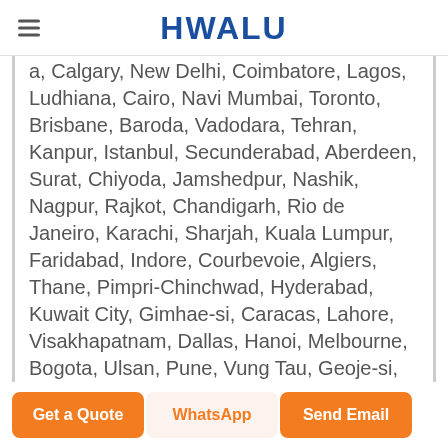HWALU
a, Calgary, New Delhi, Coimbatore, Lagos, Ludhiana, Cairo, Navi Mumbai, Toronto, Brisbane, Baroda, Vadodara, Tehran, Kanpur, Istanbul, Secunderabad, Aberdeen, Surat, Chiyoda, Jamshedpur, Nashik, Nagpur, Rajkot, Chandigarh, Rio de Janeiro, Karachi, Sharjah, Kuala Lumpur, Faridabad, Indore, Courbevoie, Algiers, Thane, Pimpri-Chinchwad, Hyderabad, Kuwait City, Gimhae-si, Caracas, Lahore, Visakhapatnam, Dallas, Hanoi, Melbourne, Bogota, Ulsan, Pune, Vung Tau, Geoje-si, Bengaluru, Busan, Haryana, London, Howrah, Al Jubail, Singapore, Moscow, Port-of-Spain, Hong Kong, Ranchi, Ed
Get a Quote
WhatsApp
Send Email